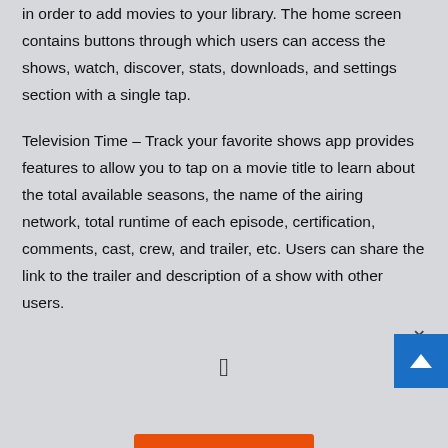in order to add movies to your library. The home screen contains buttons through which users can access the shows, watch, discover, stats, downloads, and settings section with a single tap.
Television Time – Track your favorite shows app provides features to allow you to tap on a movie title to learn about the total available seasons, the name of the airing network, total runtime of each episode, certification, comments, cast, crew, and trailer, etc. Users can share the link to the trailer and description of a show with other users.